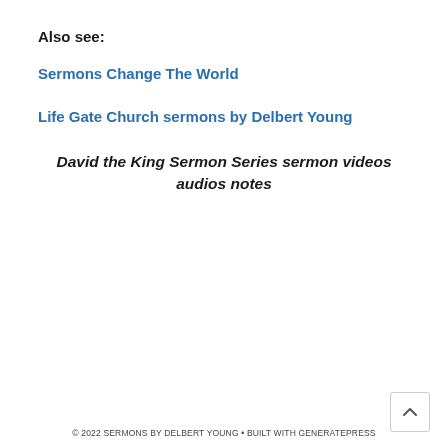Also see:
Sermons Change The World
Life Gate Church sermons by Delbert Young
David the King Sermon Series sermon videos audios notes
© 2022 SERMONS BY DELBERT YOUNG • BUILT WITH GENERATEPRESS